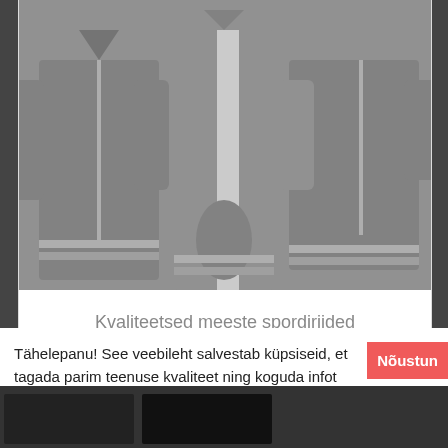[Figure (photo): Grayscale photo of men's sports jackets/clothing displayed, showing multiple garments in gray tones]
Kvaliteetsed meeste spordiriided
48€
Tähelepanu! See veebileht salvestab küpsiseid, et tagada parim teenuse kvaliteet ning koguda infot keskkonna paremaks muutmiseks!
Nõustun